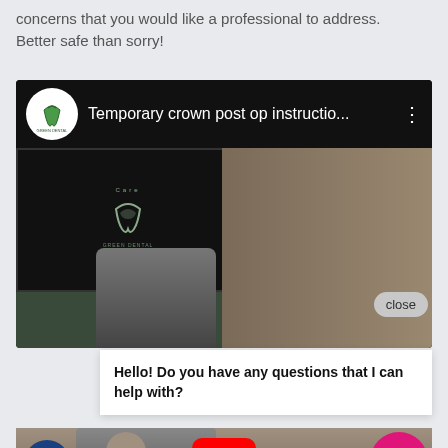concerns that you would like a professional to address. Better safe than sorry!
[Figure (screenshot): Embedded YouTube video player showing 'Temporary crown post op instructio...' from Green Dental channel, with a video frame showing a man in front of a screen with a Green Dental logo. A chat bubble overlay reads 'Hello! Do you have any questions that I can help with?' with a close button. Bottom bar shows accessibility icon, YouTube play button, and pink chat icon.]
Hello! Do you have any questions that I can help with?